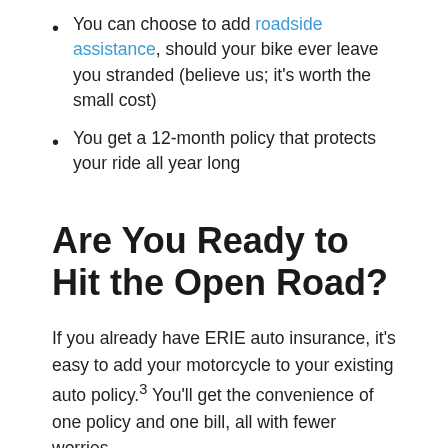You can choose to add roadside assistance, should your bike ever leave you stranded (believe us; it's worth the small cost)
You get a 12-month policy that protects your ride all year long
Are You Ready to Hit the Open Road?
If you already have ERIE auto insurance, it's easy to add your motorcycle to your existing auto policy.³ You'll get the convenience of one policy and one bill, all with fewer worries.